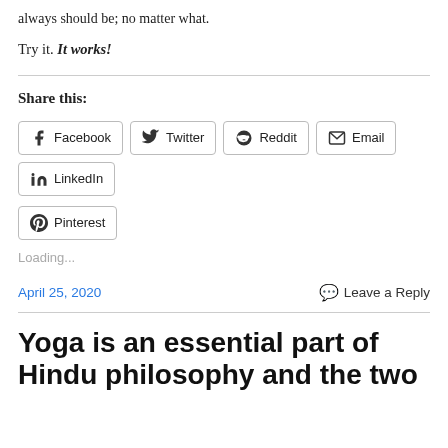always should be; no matter what.
Try it. It works!
Share this:
Facebook  Twitter  Reddit  Email  LinkedIn  Pinterest
Loading...
April 25, 2020    Leave a Reply
Yoga is an essential part of Hindu philosophy and the two